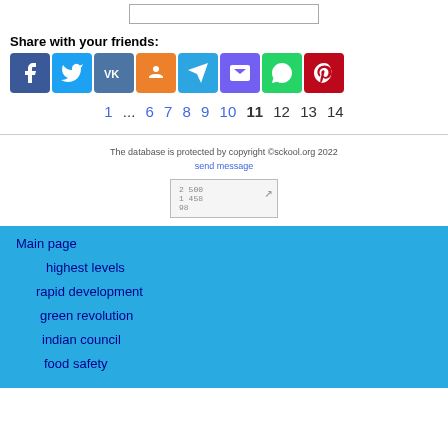Share with your friends:
[Figure (other): Social sharing icons: Facebook, Twitter, VK, OK, Telegram, Viber, WhatsApp, Pinterest]
1 ... 6 7 8 9 10 11 12 13 14
The database is protected by copyright ©sckool.org 2022
send message
Main page
highest levels
rapid development
green revolution
indian council
food safety